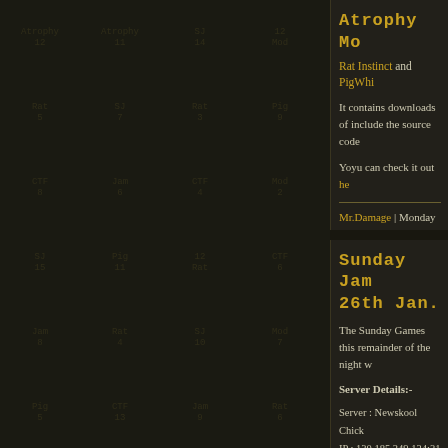Atrophy Mo
Rat Instinct  and  PigWhi
It contains downloads of include the source code
Yoyu can check it out he
Mr.Damage | Monday 27 J
Used tags: pigwhistler, rat_
Sunday Jam 26th Jan.
The Sunday Games this remainder of the night w
Server Details:-
Server : Newskool Chick
IP : 130.185.249.124:31
Date : Sunday 26th Jan.
Time : 9.00pm UK time/5
Server : Newskool CTF